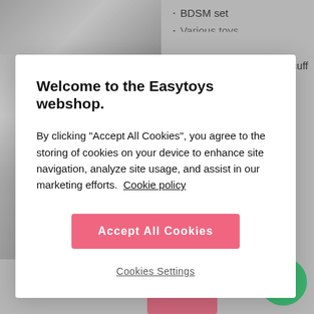BDSM set
Various toys
[Figure (screenshot): Blurred product image placeholder top]
Welcome to the Easytoys webshop.
By clicking “Accept All Cookies”, you agree to the storing of cookies on your device to enhance site navigation, analyze site usage, and assist in our marketing efforts. Cookie policy
Accept All Cookies
Cookies Settings
Set of handcuffs with neck cuff
Suitable for novices
Soft fleece lining
Velcro
Adjustable
Delivery time 3-5 business
[Figure (screenshot): Blurred product image placeholder bottom]